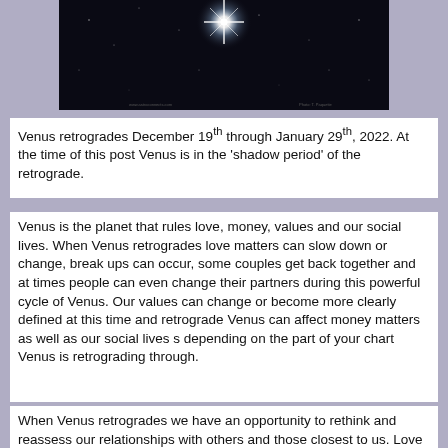[Figure (photo): Dark night sky photograph with a bright star or planet emitting lens flare, surrounded by smaller stars against a black background.]
Venus retrogrades December 19th through January 29th, 2022. At the time of this post Venus is in the ‘shadow period’ of the retrograde.
Venus is the planet that rules love, money, values and our social lives. When Venus retrogrades love matters can slow down or change, break ups can occur, some couples get back together and at times people can even change their partners during this powerful cycle of Venus. Our values can change or become more clearly defined at this time and retrograde Venus can affect money matters as well as our social lives s depending on the part of your chart Venus is retrograding through.
When Venus retrogrades we have an opportunity to rethink and reassess our relationships with others and those closest to us. Love energy may be harder to come by during this period, but we may compensate for this by loving ourselves more and participating in more self care at this time. Feelings may become more defined about who and what is most important in our lives...